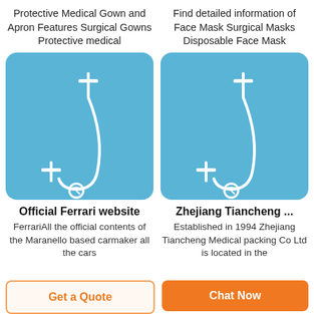Protective Medical Gown and Apron Features Surgical Gowns Protective medical
Find detailed information of Face Mask Surgical Masks Disposable Face Mask
[Figure (photo): Medical IV infusion set with tubing and clamps on blue background]
[Figure (photo): Medical IV infusion set with tubing and clamps on blue background]
Official Ferrari website
FerrariAll the official contents of the Maranello based carmaker all the cars
Zhejiang Tiancheng ...
Established in 1994 Zhejiang Tiancheng Medical packing Co Ltd is located in the
Get a Quote
Chat Now